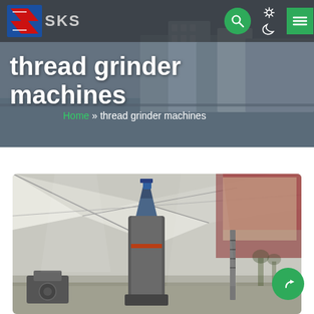SKS
thread grinder machines
Home » thread grinder machines
[Figure (photo): Industrial grinder machine inside a large warehouse/factory with white tent-like roof structure, featuring a tall cylindrical grinding machine in the foreground]
[Figure (photo): Background banner image showing an industrial/commercial building complex near water]